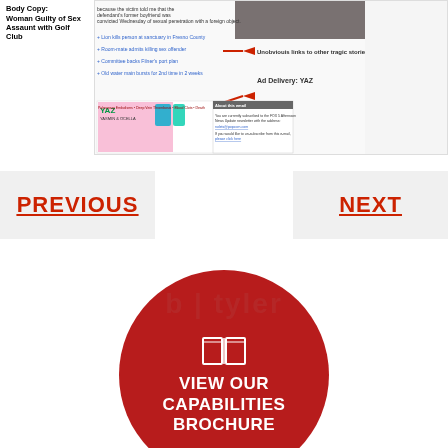Body Copy:
Woman Guilty of Sex Assaunt with Golf Club
[Figure (screenshot): Screenshot of a news website showing article about 'Woman Guilty of Sex Assaunt with Golf Club', with annotation arrows pointing to 'Unobviouis links to other tragic stories' and 'Ad Delivery: YAZ', showing a YAZ pharmaceutical ad with text 'Pulmonary Embolisms • Deep Vein Thrombosis • Blood Clots • Death']
PREVIOUS
NEXT
[Figure (infographic): Red circle with white book icon and white text 'VIEW OUR CAPABILITIES BROCHURE' over a dark red background with 'b|tyler' watermark text]